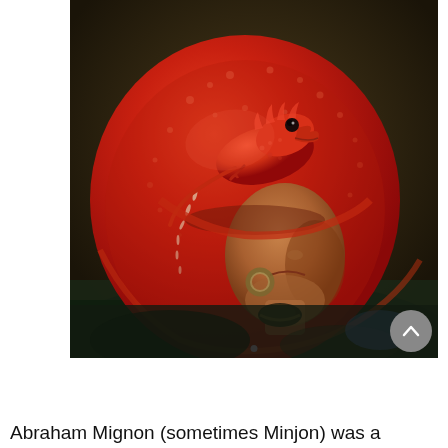[Figure (illustration): Close-up detail of a painting showing a figure wearing a large red hat with a small red dragon or lizard creature perched on top of it. The figure's face is partially visible, with the open mouth of the red creature looming over it. Dark background with rich red and warm skin-tone colors. A navigation dot indicator is visible at the bottom center of the image, and a grey circular scroll-up button is at the bottom right.]
Abraham Mignon (sometimes Minjon) was a